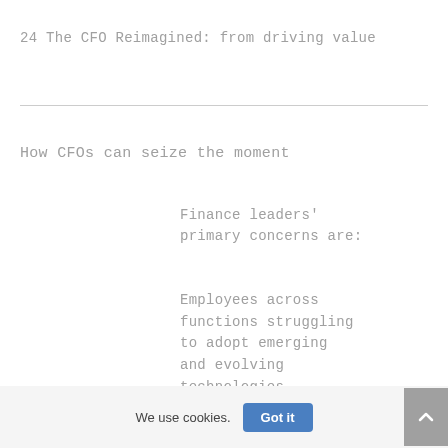24 The CFO Reimagined: from driving value
How CFOs can seize the moment
Finance leaders' primary concerns are:
Employees across functions struggling to adopt emerging and evolving technologies.